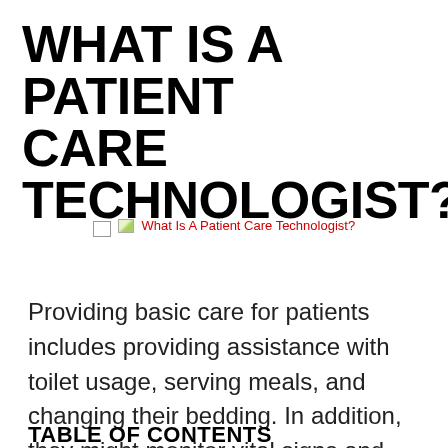WHAT IS A PATIENT CARE TECHNOLOGIST?
[Figure (photo): Broken image placeholder with alt text 'What Is A Patient Care Technologist?']
Providing basic care for patients includes providing assistance with toilet usage, serving meals, and changing their bedding. In addition, they might monitor vital signs and provide psychological support to patients and families.
TABLE OF CONTENTS